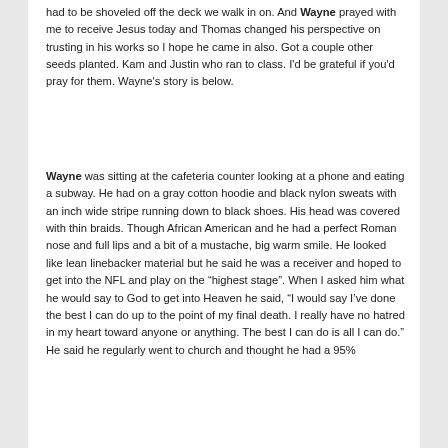had to be shoveled off the deck we walk in on. And Wayne prayed with me to receive Jesus today and Thomas changed his perspective on trusting in his works so I hope he came in also. Got a couple other seeds planted. Kam and Justin who ran to class. I'd be grateful if you'd pray for them. Wayne's story is below.
Wayne was sitting at the cafeteria counter looking at a phone and eating a subway. He had on a gray cotton hoodie and black nylon sweats with an inch wide stripe running down to black shoes. His head was covered with thin braids. Though African American and he had a perfect Roman nose and full lips and a bit of a mustache, big warm smile. He looked like lean linebacker material but he said he was a receiver and hoped to get into the NFL and play on the "highest stage". When I asked him what he would say to God to get into Heaven he said, "I would say I've done the best I can do up to the point of my final death. I really have no hatred in my heart toward anyone or anything. The best I can do is all I can do." He said he regularly went to church and thought he had a 95%